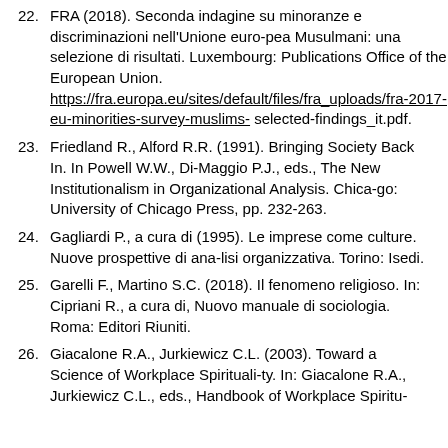22. FRA (2018). Seconda indagine su minoranze e discriminazioni nell'Unione euro-pea Musulmani: una selezione di risultati. Luxembourg: Publications Office of the European Union. https://fra.europa.eu/sites/default/files/fra_uploads/fra-2017-eu-minorities-survey-muslims- selected-findings_it.pdf.
23. Friedland R., Alford R.R. (1991). Bringing Society Back In. In Powell W.W., Di-Maggio P.J., eds., The New Institutionalism in Organizational Analysis. Chica-go: University of Chicago Press, pp. 232-263.
24. Gagliardi P., a cura di (1995). Le imprese come culture. Nuove prospettive di ana-lisi organizzativa. Torino: Isedi.
25. Garelli F., Martino S.C. (2018). Il fenomeno religioso. In: Cipriani R., a cura di, Nuovo manuale di sociologia. Roma: Editori Riuniti.
26. Giacalone R.A., Jurkiewicz C.L. (2003). Toward a Science of Workplace Spirituali-ty. In: Giacalone R.A., Jurkiewicz C.L., eds., Handbook of Workplace Spiritu-